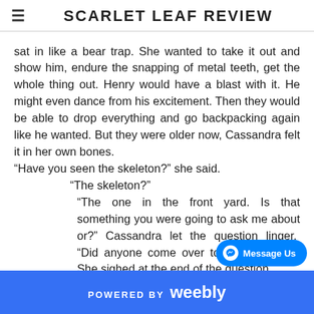SCARLET LEAF REVIEW
sat in like a bear trap. She wanted to take it out and show him, endure the snapping of metal teeth, get the whole thing out. Henry would have a blast with it. He might even dance from his excitement. Then they would be able to drop everything and go backpacking again like he wanted. But they were older now, Cassandra felt it in her own bones.
“Have you seen the skeleton?” she said.
“The skeleton?”
“The one in the front yard. Is that something you were going to ask me about or?” Cassandra let the question linger. “Did anyone come over to ask about it?” She sighed at the end of the question.
“No, but, like, I mean a skeleton? Just there, in the yard?” he asked. Cassandra nodded and he pinched the bridge of his nose. “Do we call the cops? Or what? What do we do here
POWERED BY weebly